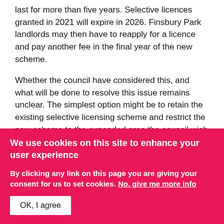last for more than five years. Selective licences granted in 2021 will expire in 2026. Finsbury Park landlords may then have to reapply for a licence and pay another fee in the final year of the new scheme.
Whether the council have considered this, and what will be done to resolve this issue remains unclear. The simplest option might be to retain the existing selective licensing scheme and restrict the new scheme to the expanded area the council wish to include.
It is one...
We use cookies on this site to enhance your user experience
By clicking any link on this page you are giving your consent for us to set cookies. No, give me more info
OK, I agree